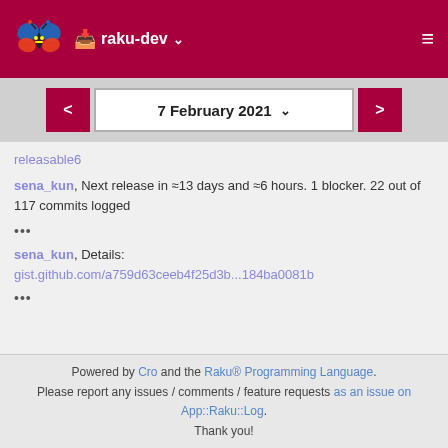raku-dev
7 February 2021
releasable6
sena_kun, Next release in ≈13 days and ≈6 hours. 1 blocker. 22 out of 117 commits logged
•••
sena_kun, Details:
gist.github.com/a759d63ceeb4f25d3b...184ba0081b
•••
Powered by Cro and the Raku® Programming Language. Please report any issues / comments / feature requests as an issue on App::Raku::Log. Thank you!